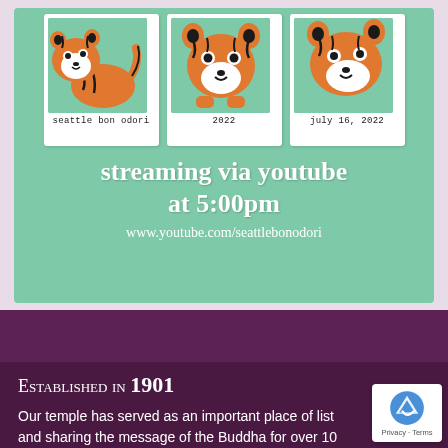[Figure (illustration): Three polaroid-style cards on a mint green background, each featuring a cute cartoon tiger. The first is labeled 'seattle bon odori', the second '2022', the third 'july 16, 2022'. Below the polaroids: 'streaming via youtube at 5:00pm' and 'www.youtube.com/seattlebonodori']
Established in 1901
Our temple has served as an important place of list and sharing the message of the Buddha for over 10